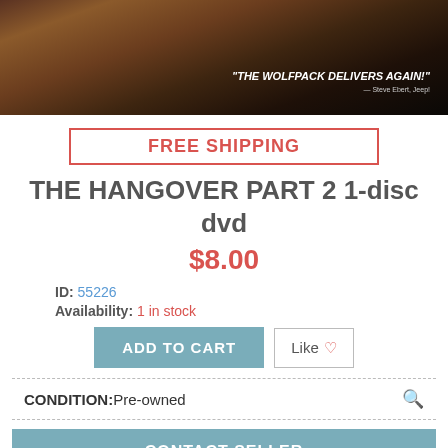[Figure (photo): Movie cover/promotional image for The Hangover Part 2 with quote 'THE WOLFPACK DELIVERS AGAIN!']
FREE SHIPPING
THE HANGOVER PART 2 1-disc dvd
$8.00
ID: 55226
Availability: 1 in stock
ADD TO CART
Like
CONDITION:Pre-owned
CONTACT SELLER
DESCRIPTION
pre-owned in gently used condition
SHIPPING